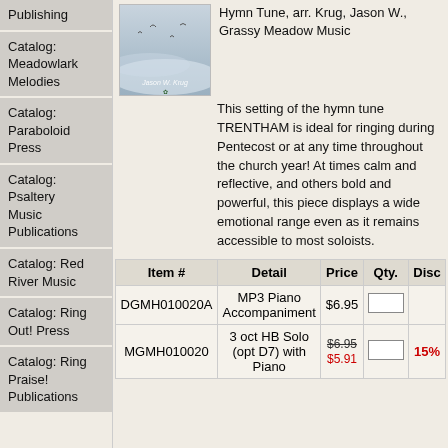Publishing
Catalog: Meadowlark Melodies
Catalog: Paraboloid Press
Catalog: Psaltery Music Publications
Catalog: Red River Music
Catalog: Ring Out! Press
Catalog: Ring Praise! Publications
[Figure (illustration): Album cover with grey/blue misty sky and birds, text 'Jason W. Krug' at bottom]
Hymn Tune, arr. Krug, Jason W., Grassy Meadow Music
This setting of the hymn tune TRENTHAM is ideal for ringing during Pentecost or at any time throughout the church year! At times calm and reflective, and others bold and powerful, this piece displays a wide emotional range even as it remains accessible to most soloists.
| Item # | Detail | Price | Qty. | Disc |
| --- | --- | --- | --- | --- |
| DGMH010020A | MP3 Piano Accompaniment | $6.95 |  |  |
| MGMH010020 | 3 oct HB Solo (opt D7) with Piano | $6.95 $5.91 |  | 15% |